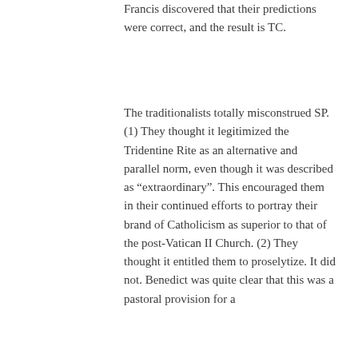Francis discovered that their predictions were correct, and the result is TC.
The traditionalists totally misconstrued SP. (1) They thought it legitimized the Tridentine Rite as an alternative and parallel norm, even though it was described as “extraordinary”. This encouraged them in their continued efforts to portray their brand of Catholicism as superior to that of the post-Vatican II Church. (2) They thought it entitled them to proselytize. It did not. Benedict was quite clear that this was a pastoral provision for a